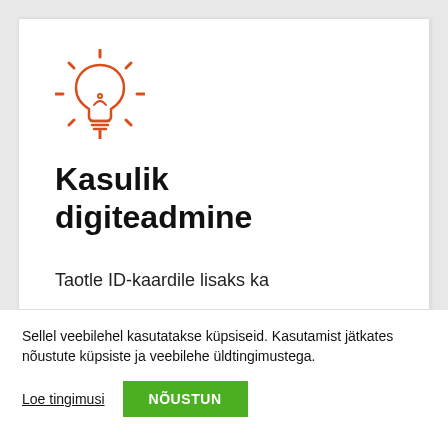[Figure (illustration): Orange lightbulb icon with rays suggesting brightness]
Kasulik digiteadmine
Taotle ID-kaardile lisaks ka
Sellel veebilehel kasutatakse küpsiseid. Kasutamist jätkates nõustute küpsiste ja veebilehe üldtingimustega.
Loe tingimusi
NÕUSTUN